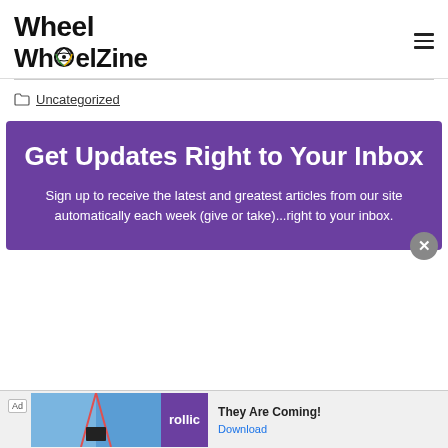WheelZine
Uncategorized
Get Updates Right to Your Inbox
Sign up to receive the latest and greatest articles from our site automatically each week (give or take)...right to your inbox.
Ad  They Are Coming!  Download